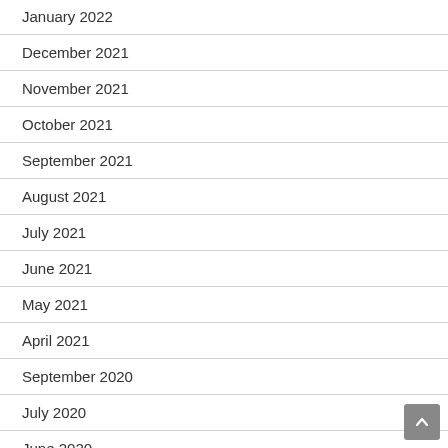January 2022
December 2021
November 2021
October 2021
September 2021
August 2021
July 2021
June 2021
May 2021
April 2021
September 2020
July 2020
June 2020